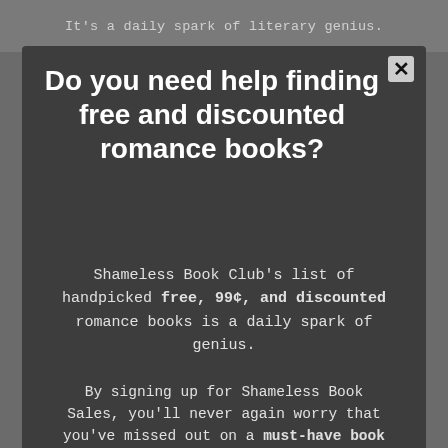It's a daily spark of literary genius.
Do you need help finding free and discounted romance books?
Shameless Book Club's list of handpicked free, 99¢, and discounted romance books is a daily spark of genius.
By signing up for Shameless Book Sales, you'll never again worry that you've missed out on a must-have book sale because you're smart, you're gorgeous, and people like you.